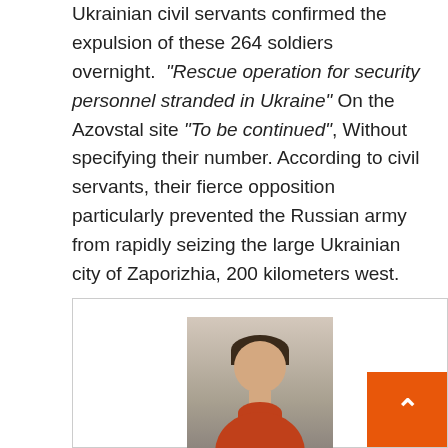Ukrainian civil servants confirmed the expulsion of these 264 soldiers overnight. "Rescue operation for security personnel stranded in Ukraine" On the Azovstal site "To be continued", Without specifying their number. According to civil servants, their fierce opposition particularly prevented the Russian army from rapidly seizing the large Ukrainian city of Zaporizhia, 200 kilometers west.

The Russian Defense Ministry announced on Monday that it had imposed a ceasefire around Azovstal to allow the evacuation of wounded Ukrainian soldiers.
[Figure (photo): Portrait photo of a young man with short dark hair, smiling, wearing an orange turtleneck sweater, with a blurred city street in the background.]